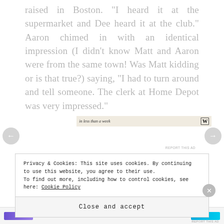raised in Boston. "I heard it at the supermarket and Dee heard it at the club." Aaron chimed in with an identical impression (I didn't know Matt and Aaron were from the same town! Was Matt kidding or is that true?) saying, "I had to turn around and tell someone. The clerk at Home Depot was very impressed."
[Figure (other): Advertisement banner with text 'in less than a week' and a W logo on a tan/beige background, with 'REPORT THIS AD' text below]
Privacy & Cookies: This site uses cookies. By continuing to use this website, you agree to their use.
To find out more, including how to control cookies, see here: Cookie Policy
Close and accept